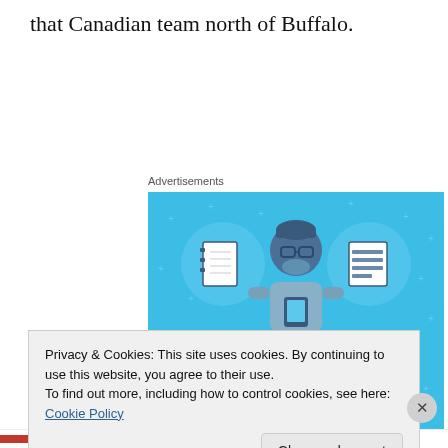that Canadian team north of Buffalo.
Advertisements
[Figure (illustration): Day One journaling app advertisement. Blue background with illustrated character holding a phone, flanked by two circular icons showing a notebook and a lined document. Text reads 'DAY ONE' and 'The only journaling app you'll ever need.']
Privacy & Cookies: This site uses cookies. By continuing to use this website, you agree to their use.
To find out more, including how to control cookies, see here: Cookie Policy
Close and accept